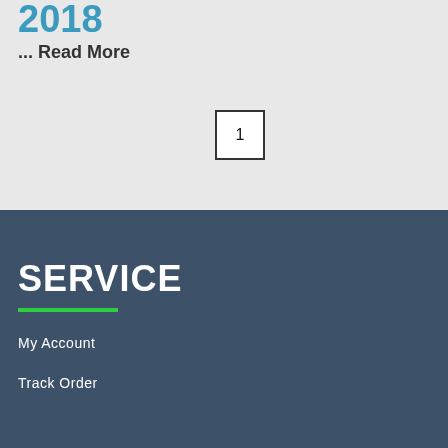2018
... Read More
1
SERVICE
My Account
Track Order